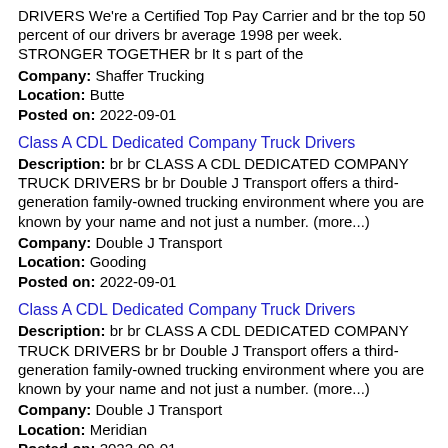DRIVERS We're a Certified Top Pay Carrier and br the top 50 percent of our drivers br average 1998 per week. STRONGER TOGETHER br It s part of the
Company: Shaffer Trucking
Location: Butte
Posted on: 2022-09-01
Class A CDL Dedicated Company Truck Drivers
Description: br br CLASS A CDL DEDICATED COMPANY TRUCK DRIVERS br br Double J Transport offers a third-generation family-owned trucking environment where you are known by your name and not just a number. (more...)
Company: Double J Transport
Location: Gooding
Posted on: 2022-09-01
Class A CDL Dedicated Company Truck Drivers
Description: br br CLASS A CDL DEDICATED COMPANY TRUCK DRIVERS br br Double J Transport offers a third-generation family-owned trucking environment where you are known by your name and not just a number. (more...)
Company: Double J Transport
Location: Meridian
Posted on: 2022-09-01
CDL A Driver: Earn $103,903 yr with 1yr or more driving experience!